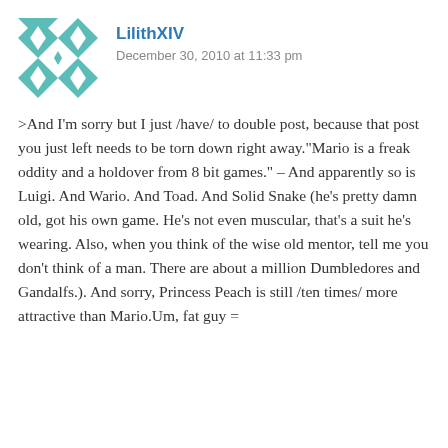[Figure (illustration): Teal/green geometric quilt-pattern avatar image, approximately 80x80px, with diamond and cross shapes in teal on white background]
LilithXIV
December 30, 2010 at 11:33 pm
>And I'm sorry but I just /have/ to double post, because that post you just left needs to be torn down right away."Mario is a freak oddity and a holdover from 8 bit games." – And apparently so is Luigi. And Wario. And Toad. And Solid Snake (he's pretty damn old, got his own game. He's not even muscular, that's a suit he's wearing. Also, when you think of the wise old mentor, tell me you don't think of a man. There are about a million Dumbledores and Gandalfs.). And sorry, Princess Peach is still /ten times/ more attractive than Mario.Um, fat guy =